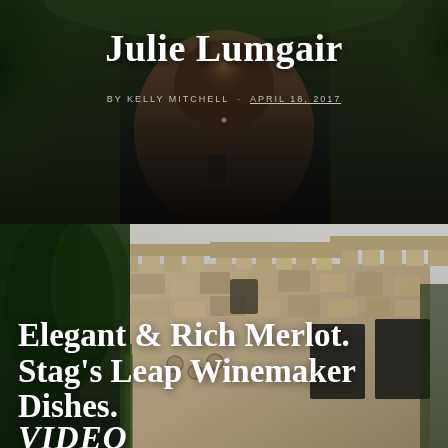[Figure (photo): Portrait photo of Julie Lumgair, a woman with long brown hair wearing a black outfit, holding a wine glass, photographed outdoors against a dark green foliage background]
Julie Lumgair
BY KELLY MITCHELL · APRIL 18, 2017
[Figure (photo): Photo of a stone castle-like winery building with crenellated towers, surrounded by trees, taken at dusk or late afternoon with warm light]
Elegant & Rich Merlot. Stag's Leap Winemaker Dishes. VIDEO